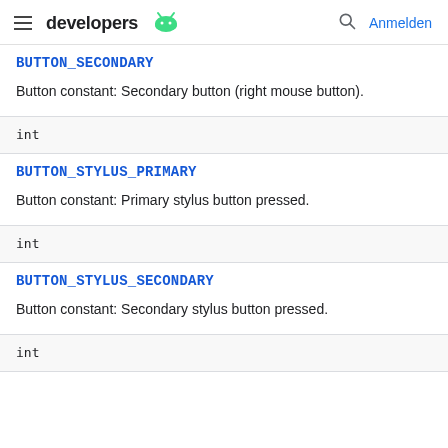developers [android logo] Anmelden
BUTTON_SECONDARY
Button constant: Secondary button (right mouse button).
int
BUTTON_STYLUS_PRIMARY
Button constant: Primary stylus button pressed.
int
BUTTON_STYLUS_SECONDARY
Button constant: Secondary stylus button pressed.
int